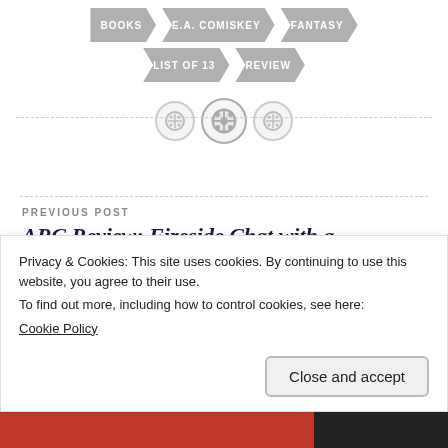BOOKS
E.A. COMISKEY
FANTASY
LIST OF 13
REVIEW
[Figure (illustration): Three decorative button icons on a horizontal dotted divider line]
PREVIOUS POST
ARC Review: Fireside Chat with a Grammar Nazi Serial Killer by Ryan Suvaal
Privacy & Cookies: This site uses cookies. By continuing to use this website, you agree to their use.
To find out more, including how to control cookies, see here:
Cookie Policy
Close and accept